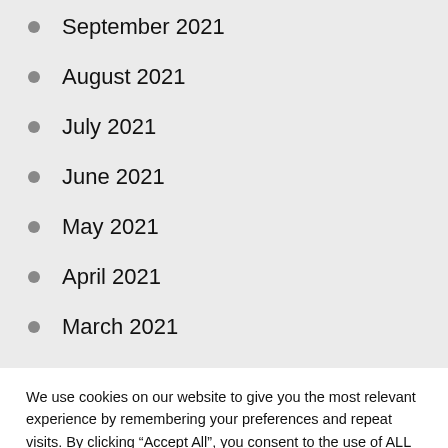September 2021
August 2021
July 2021
June 2021
May 2021
April 2021
March 2021
We use cookies on our website to give you the most relevant experience by remembering your preferences and repeat visits. By clicking "Accept All", you consent to the use of ALL the cookies. However, you may visit "Cookie Settings" to provide a controlled consent.
Cookie Settings | Accept All